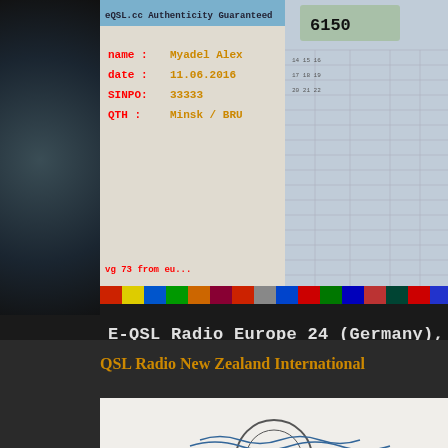[Figure (photo): E-QSL card from Radio Europe 24 (Germany) showing name: Myadel Alex, date: 11.06.2016, SINPO: 33333, QTH: Minsk/BRU, with radio frequency display showing 6150 and a row of country flags at the bottom]
E-QSL Radio Europe 24 (Germany), 615...
53 days
Posted by Alex Myadel at October 22, 2020   No comments:
QSL Radio New Zealand International
[Figure (photo): QSL card from Radio New Zealand International showing a logo/emblem at the bottom]